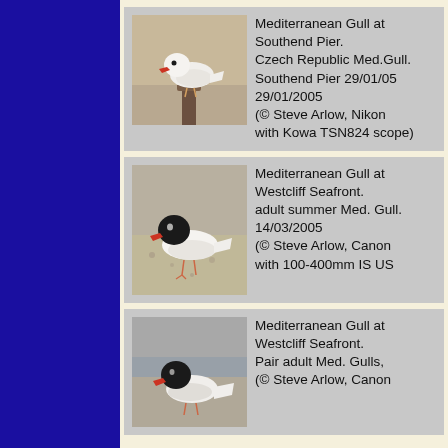[Figure (photo): Photograph of a Mediterranean Gull (white plumage, red bill) perched on a wooden post at Southend Pier]
Mediterranean Gull at Southend Pier. Czech Republic Med.Gull. Southend Pier 29/01/05 29/01/2005 (© Steve Arlow, Nikon with Kowa TSN824 scope)
[Figure (photo): Photograph of an adult summer Mediterranean Gull with black hood and red bill standing on sandy seafront ground]
Mediterranean Gull at Westcliff Seafront. adult summer Med. Gull. 14/03/2005 (© Steve Arlow, Canon with 100-400mm IS US
[Figure (photo): Photograph of a Mediterranean Gull with black hood standing at Westcliff Seafront]
Mediterranean Gull at Westcliff Seafront. Pair adult Med. Gulls, (© Steve Arlow, Canon